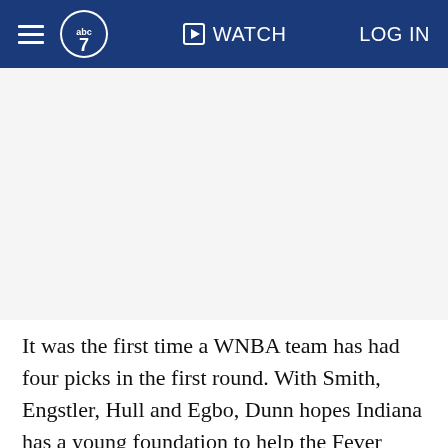ABC7 | WATCH | LOG IN
[Figure (other): Advertisement or image placeholder area below the navigation bar]
It was the first time a WNBA team has had four picks in the first round. With Smith, Engstler, Hull and Egbo, Dunn hopes Indiana has a young foundation to help the Fever return to the playoffs for the first time since...